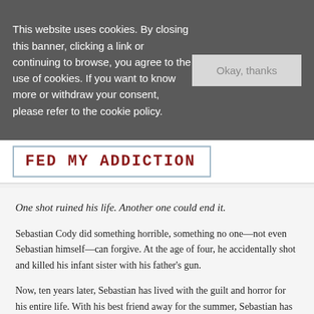This website uses cookies. By closing this banner, clicking a link or continuing to browse, you agree to the use of cookies. If you want to know more or withdraw your consent, please refer to the cookie policy.
Okay, thanks
FED MY ADDICTION
One shot ruined his life. Another one could end it.
Sebastian Cody did something horrible, something no one—not even Sebastian himself—can forgive. At the age of four, he accidentally shot and killed his infant sister with his father's gun.
Now, ten years later, Sebastian has lived with the guilt and horror for his entire life. With his best friend away for the summer, Sebastian has only a new friend—Aneesa—to distract him from his darkest thoughts. But even this relationship cannot blunt the pain of his past.